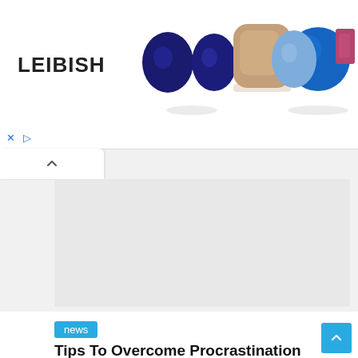[Figure (illustration): LEIBISH jewelry/gemstone advertisement banner showing colorful gemstones including sapphires, brown diamond, blue sapphire, light blue sapphire, and pink/red gemstone with LEIBISH text logo]
× ▷
[Figure (screenshot): Gray empty content/ad placeholder area below navigation tab]
news
Tips To Overcome Procrastination – Tackle Procrastination Like A Pro
editor   September 10, 2021   0